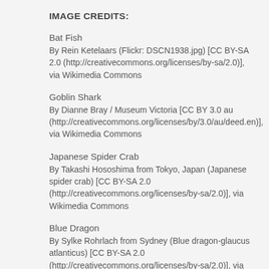IMAGE CREDITS:
Bat Fish
By Rein Ketelaars (Flickr: DSCN1938.jpg) [CC BY-SA 2.0 (http://creativecommons.org/licenses/by-sa/2.0)], via Wikimedia Commons
Goblin Shark
By Dianne Bray / Museum Victoria [CC BY 3.0 au (http://creativecommons.org/licenses/by/3.0/au/deed.en)], via Wikimedia Commons
Japanese Spider Crab
By Takashi Hososhima from Tokyo, Japan (Japanese spider crab) [CC BY-SA 2.0 (http://creativecommons.org/licenses/by-sa/2.0)], via Wikimedia Commons
Blue Dragon
By Sylke Rohrlach from Sydney (Blue dragon-glaucus atlanticus) [CC BY-SA 2.0 (http://creativecommons.org/licenses/by-sa/2.0)], via Wikimedia Commons
By Imtorn (Own work) [CC BY-SA 3.0 (http://creativecommons.org/licenses/by-sa/3.0)], via